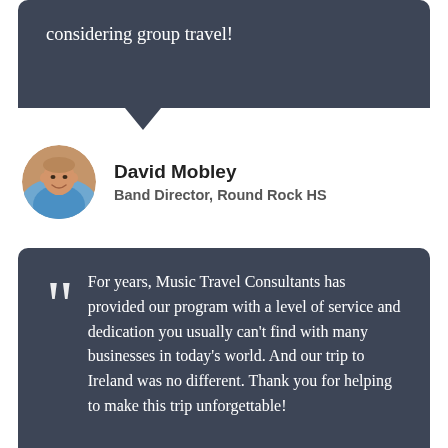considering group travel!
[Figure (photo): Circular profile photo of David Mobley, a middle-aged man smiling outdoors]
David Mobley
Band Director, Round Rock HS
For years, Music Travel Consultants has provided our program with a level of service and dedication you usually can't find with many businesses in today's world. And our trip to Ireland was no different. Thank you for helping to make this trip unforgettable!